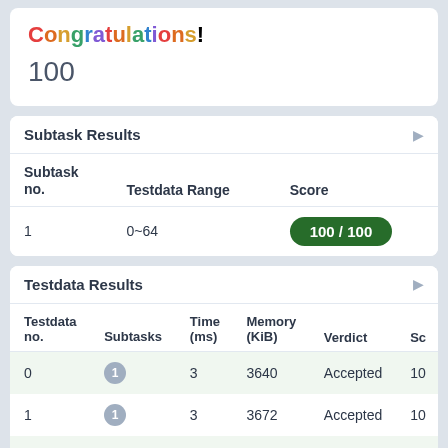Congratulations!
100
Subtask Results
| Subtask no. | Testdata Range | Score |
| --- | --- | --- |
| 1 | 0~64 | 100 / 100 |
Testdata Results
| Testdata no. | Subtasks | Time (ms) | Memory (KiB) | Verdict | Score |
| --- | --- | --- | --- | --- | --- |
| 0 | 1 | 3 | 3640 | Accepted | 10 |
| 1 | 1 | 3 | 3672 | Accepted | 10 |